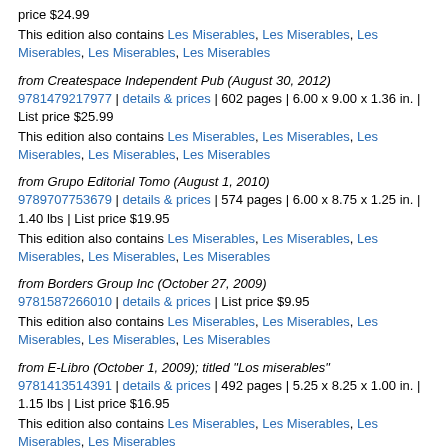price $24.99
This edition also contains Les Miserables, Les Miserables, Les Miserables, Les Miserables, Les Miserables
from Createspace Independent Pub (August 30, 2012)
9781479217977 | details & prices | 602 pages | 6.00 x 9.00 x 1.36 in. | List price $25.99
This edition also contains Les Miserables, Les Miserables, Les Miserables, Les Miserables, Les Miserables
from Grupo Editorial Tomo (August 1, 2010)
9789707753679 | details & prices | 574 pages | 6.00 x 8.75 x 1.25 in. | 1.40 lbs | List price $19.95
This edition also contains Les Miserables, Les Miserables, Les Miserables, Les Miserables, Les Miserables
from Borders Group Inc (October 27, 2009)
9781587266010 | details & prices | List price $9.95
This edition also contains Les Miserables, Les Miserables, Les Miserables, Les Miserables
from E-Libro (October 1, 2009); titled "Los miserables"
9781413514391 | details & prices | 492 pages | 5.25 x 8.25 x 1.00 in. | 1.15 lbs | List price $16.95
This edition also contains Les Miserables, Les Miserables, Les Miserables, Les Miserables
from E-Libro (October 1, 2009); titled "Los miserables"